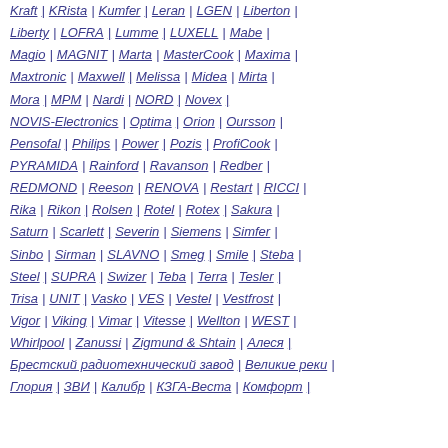Kraft | KRista | Kumfer | Leran | LGEN | Liberton |
Liberty | LOFRA | Lumme | LUXELL | Mabe |
Magio | MAGNIT | Marta | MasterCook | Maxima |
Maxtronic | Maxwell | Melissa | Midea | Mirta |
Mora | MPM | Nardi | NORD | Novex |
NOVIS-Electronics | Optima | Orion | Oursson |
Pensofal | Philips | Power | Pozis | ProfiCook |
PYRAMIDA | Rainford | Ravanson | Redber |
REDMOND | Reeson | RENOVA | Restart | RICCI |
Rika | Rikon | Rolsen | Rotel | Rotex | Sakura |
Saturn | Scarlett | Severin | Siemens | Simfer |
Sinbo | Sirman | SLAVNO | Smeg | Smile | Steba |
Steel | SUPRA | Swizer | Teba | Terra | Tesler |
Trisa | UNIT | Vasko | VES | Vestel | Vestfrost |
Vigor | Viking | Vimar | Vitesse | Wellton | WEST |
Whirlpool | Zanussi | Zigmund & Shtain | Алеся |
Брестский радиотехнический завод | Великие реки |
Глория | ЗВИ | Калибр | КЗГА-Веста | Комфорт |